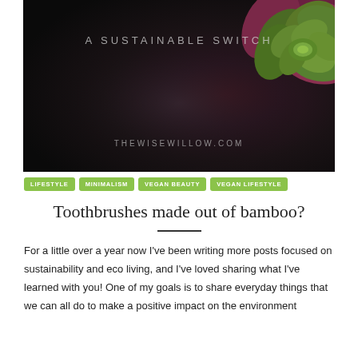[Figure (photo): Dark moody hero image of a succulent plant with the text 'A SUSTAINABLE SWITCH' at the top and 'THEWISEWILLOW.COM' at the bottom, on a dark background.]
LIFESTYLE
MINIMALISM
VEGAN BEAUTY
VEGAN LIFESTYLE
Toothbrushes made out of bamboo?
For a little over a year now I've been writing more posts focused on sustainability and eco living, and I've loved sharing what I've learned with you! One of my goals is to share everyday things that we can all do to make a positive impact on the environment